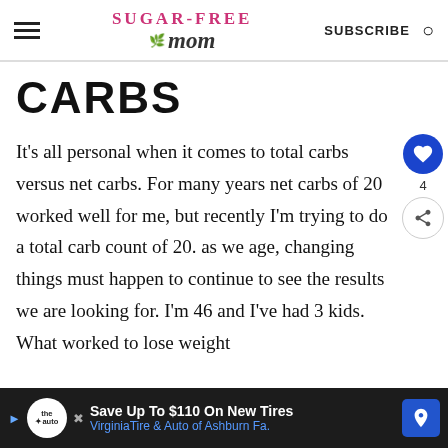SUGAR-FREE MOM — SUBSCRIBE
CARBS
It's all personal when it comes to total carbs versus net carbs. For many years net carbs of 20 worked well for me, but recently I'm trying to do a total carb count of 20. as we age, changing things must happen to continue to see the results we are looking for. I'm 46 and I've had 3 kids. What worked to lose weight
[Figure (other): Advertisement banner: Save Up To $110 On New Tires — Virginia Tire & Auto of Ashburn Fa.]